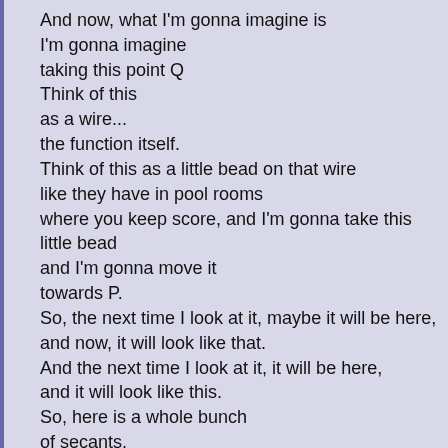And now, what I'm gonna imagine is
I'm gonna imagine
taking this point Q
Think of this
as a wire...
the function itself.
Think of this as a little bead on that wire
like they have in pool rooms
where you keep score, and I'm gonna take this little bead
and I'm gonna move it
towards P.
So, the next time I look at it, maybe it will be here,
and now, it will look like that.
And the next time I look at it, it will be here,
and it will look like this.
So, here is a whole bunch
of secants.
In fact, if you're so inclined, mathematicians would call that a
And hopefully, and I probably should extend them because th
Now,
So, the second closest to P...